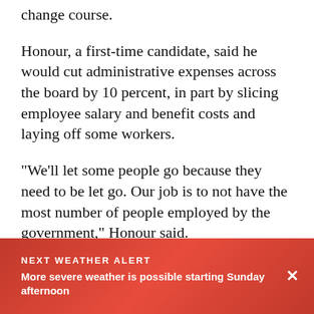change course.
Honour, a first-time candidate, said he would cut administrative expenses across the board by 10 percent, in part by slicing employee salary and benefit costs and laying off some workers.
"We'll let some people go because they need to be let go. Our job is to not have the most number of people employed by the government," Honour said.
He said he would cut public health program costs by
NEXT WEATHER ALERT
More severe weather is possible starting Sunday afternoon